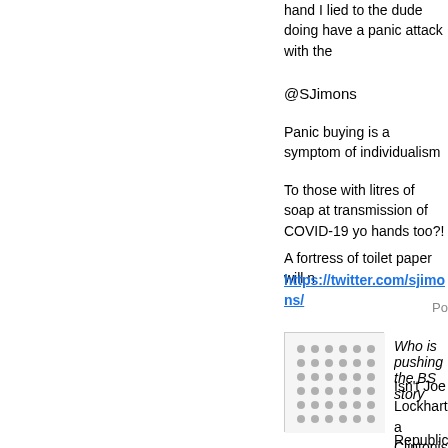hand I lied to the dude doing have a panic attack with the
@SJimons
Panic buying is a symptom of individualism
To those with litres of soap at transmission of COVID-19 yo hands too?!
A fortress of toilet paper will n
https://twitter.com/sjimons/
Po
[Figure (photo): Small avatar image showing a grid of gray dots on white background]
Who is pushing the BS story
Isn't Joe Lockhart a Clintonist he's trying to keep the issue f angling for a position with the
Republicans shouldn't push t